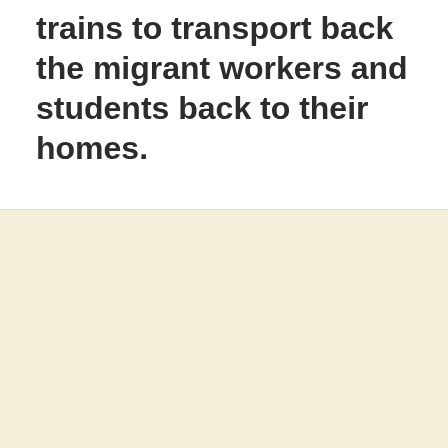trains to transport back the migrant workers and students back to their homes.